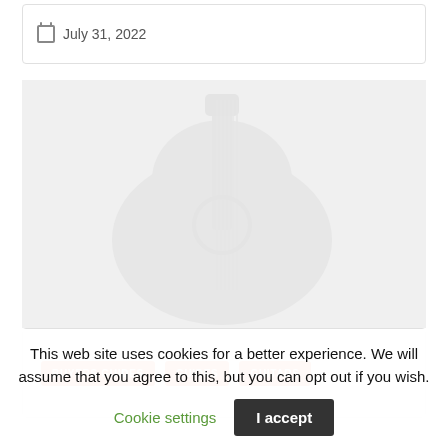July 31, 2022
[Figure (photo): Faded/watermarked guitar-related image placeholder in light gray]
BUYERS GUIDES
GUIDES
GUITARS
This web site uses cookies for a better experience. We will assume that you agree to this, but you can opt out if you wish.
Cookie settings
I accept